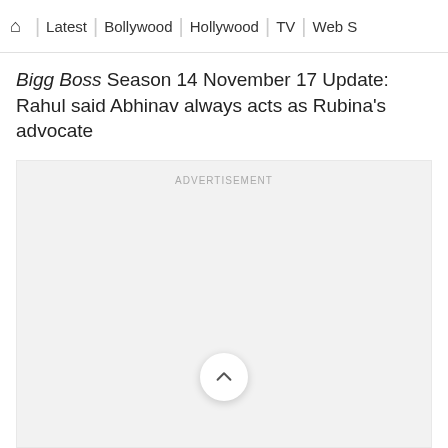🏠 | Latest | Bollywood | Hollywood | TV | Web S
Bigg Boss Season 14 November 17 Update: Rahul said Abhinav always acts as Rubina's advocate
[Figure (other): Advertisement placeholder block with 'ADVERTISEMENT' label and a scroll-up chevron button]